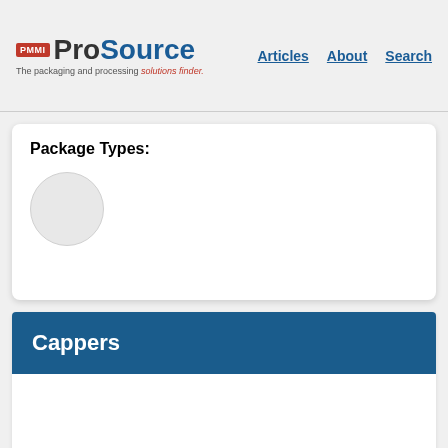PMMI ProSource — The packaging and processing solutions finder. Articles  About  Search
Package Types:
[Figure (other): A circular placeholder image or icon, light gray circle]
Cappers